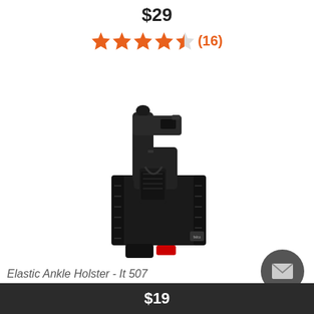$29
★★★★½ (16)
[Figure (photo): Black elastic ankle holster holding a black semi-automatic pistol, with a small magazine pouch at the bottom]
Elastic Ankle Holster - It 507
$19